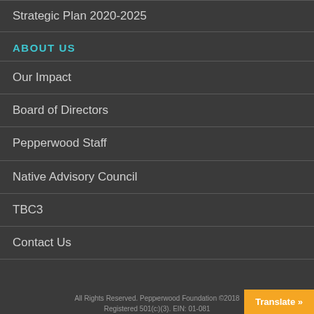Strategic Plan 2020-2025
ABOUT US
Our Impact
Board of Directors
Pepperwood Staff
Native Advisory Council
TBC3
Contact Us
All Rights Reserved. Pepperwood Foundation ©2018 Registered 501(c)(3). EIN: 01-081...
Translate »